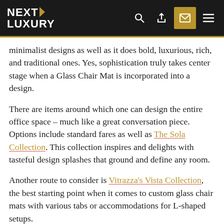NEXT LUXURY
minimalist designs as well as it does bold, luxurious, rich, and traditional ones. Yes, sophistication truly takes center stage when a Glass Chair Mat is incorporated into a design.
There are items around which one can design the entire office space – much like a great conversation piece. Options include standard fares as well as The Sola Collection. This collection inspires and delights with tasteful design splashes that ground and define any room.
Another route to consider is Vitrazza's Vista Collection, the best starting point when it comes to custom glass chair mats with various tabs or accommodations for L-shaped setups.